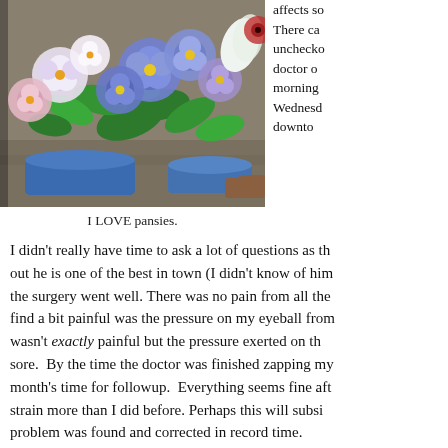[Figure (photo): Photo of colorful pansies (white, pink, purple/blue) in blue ceramic pots on a stone surface]
affects so... There ca... unchecko... doctor o... morning... Wednesd... downto...
I LOVE pansies.
I didn't really have time to ask a lot of questions as th... out he is one of the best in town (I didn't know of him... the surgery went well. There was no pain from all the... find a bit painful was the pressure on my eyeball fror... wasn't exactly painful but the pressure exerted on th... sore.  By the time the doctor was finished zapping my... month's time for followup.  Everything seems fine aft... strain more than I did before. Perhaps this will subsi... problem was found and corrected in record time.